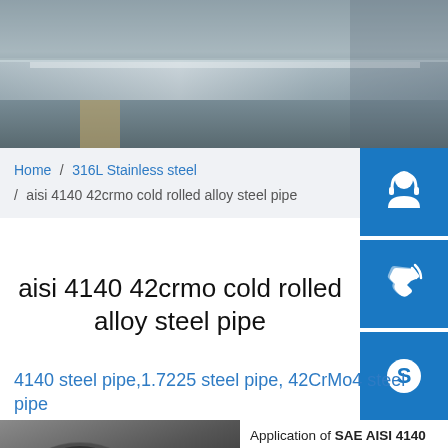[Figure (photo): Top photo of stainless steel sheet/plate in gray metallic tones]
Home / 316L Stainless steel / aisi 4140 42crmo cold rolled alloy steel pipe
[Figure (infographic): Three blue sidebar buttons: headset/customer service icon, phone icon, Skype icon]
aisi 4140 42crmo cold rolled alloy steel pipe
4140 steel pipe,1.7225 steel pipe, 42CrMo4 steel pipe
[Figure (photo): Product photo of dark steel pipes/coils]
Application of SAE AISI 4140 Alloy Steel AISI 4140 Steel is a Alloy Structural Steel belong to ASTM A29/A29M Steel Standard. AISI